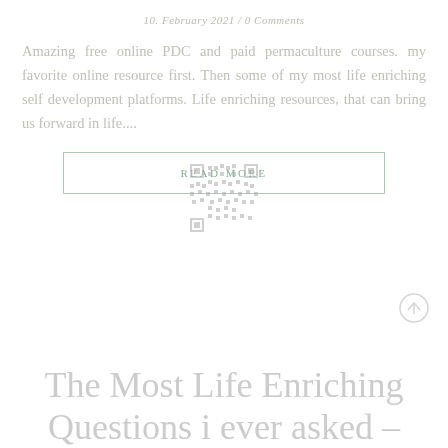10. February 2021 / 0 Comments
Amazing free online PDC and paid permaculture courses. my favorite online resource first. Then some of my most life enriching self development platforms. Life enriching resources, that can bring us forward in life....
[Figure (other): READ MORE button with QR code overlay graphic in center]
The Most Life Enriching Questions i ever asked –